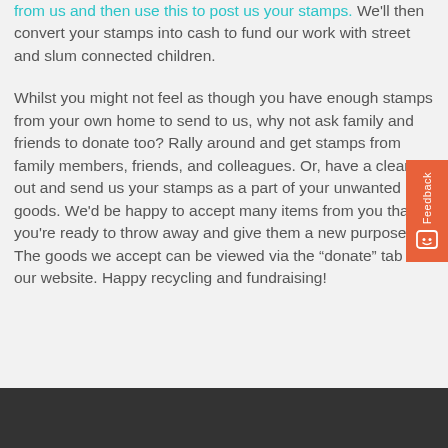from us and then use this to post us your stamps. We'll then convert your stamps into cash to fund our work with street and slum connected children.
Whilst you might not feel as though you have enough stamps from your own home to send to us, why not ask family and friends to donate too? Rally around and get stamps from family members, friends, and colleagues. Or, have a clear out and send us your stamps as a part of your unwanted goods. We'd be happy to accept many items from you that you're ready to throw away and give them a new purpose. The goods we accept can be viewed via the “donate” tab on our website. Happy recycling and fundraising!